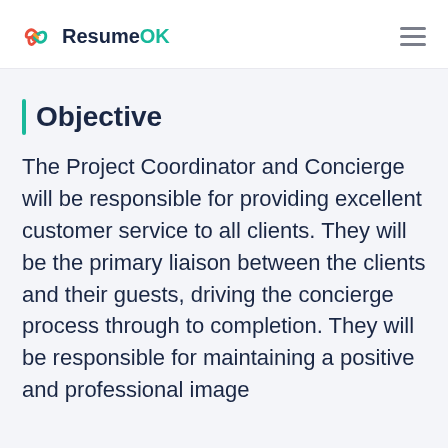ResumeOK
Objective
The Project Coordinator and Concierge will be responsible for providing excellent customer service to all clients. They will be the primary liaison between the clients and their guests, driving the concierge process through to completion. They will be responsible for maintaining a positive and professional image